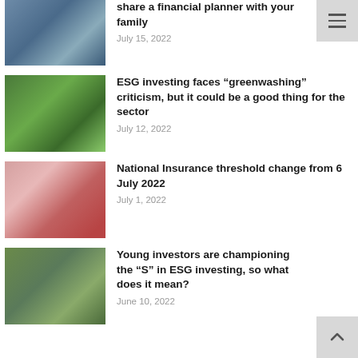[Figure (photo): Photo of people outdoors, partially visible at top]
share a financial planner with your family
July 15, 2022
[Figure (photo): Close-up photo of green leaves and figs on a tree]
ESG investing faces “greenwashing” criticism, but it could be a good thing for the sector
July 12, 2022
[Figure (photo): Photo of a smiling woman and child playing together]
National Insurance threshold change from 6 July 2022
July 1, 2022
[Figure (photo): Photo of people outdoors playing or celebrating together]
Young investors are championing the “S” in ESG investing, so what does it mean?
June 10, 2022